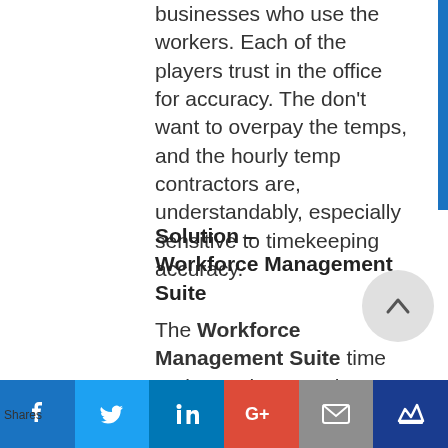businesses who use the workers. Each of the players trust in the office for accuracy. The don't want to overpay the temps, and the hourly temp contractors are, understandably, especially sensitive to timekeeping accuracy.
Solution – Workforce Management Suite
The Workforce Management Suite time and attendance tool, TimeWorksPlus, quickly solved a multitude of problems. The Workforce Management Suite mobile app allows contract workers to punch
Shares | Facebook | Twitter | LinkedIn | Google+ | Email | Crown